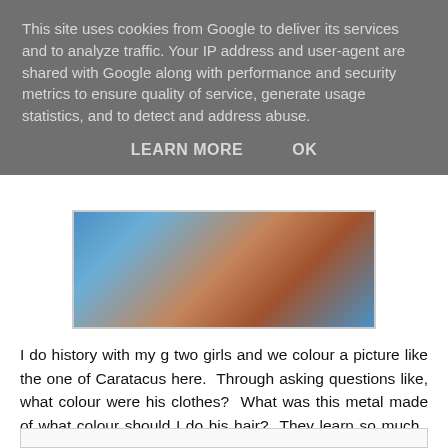This site uses cookies from Google to deliver its services and to analyze traffic. Your IP address and user-agent are shared with Google along with performance and security metrics to ensure quality of service, generate usage statistics, and to detect and address abuse.
LEARN MORE    OK
[Figure (photo): Partial view of a child with red/curly hair lying down, with blue cushions or equipment visible]
I do history with my g two girls and we colour a picture like the one of Caratacus here.  Through asking questions like, what colour were his clothes?  What was this metal made of what colour should I do his hair?  They learn so much.  Then we can talk about what happened to him while they happily draw and learning is so much more fun.  They take colouring to a new level as they get older and I find they play with shading and then use this practise more and more in their own drawings.